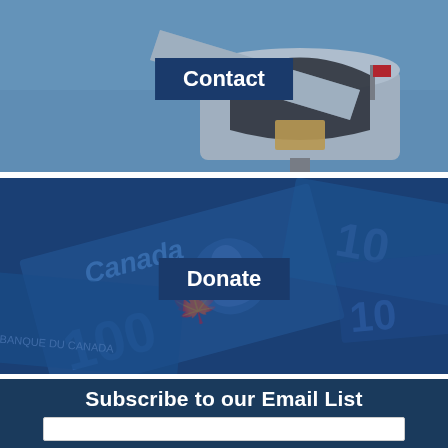[Figure (photo): Photograph of an open metal mailbox against a blue sky, with a blue overlay label reading 'Contact']
[Figure (photo): Photograph of Canadian $100 bills with a dark blue overlay and a label reading 'Donate']
Subscribe to our Email List